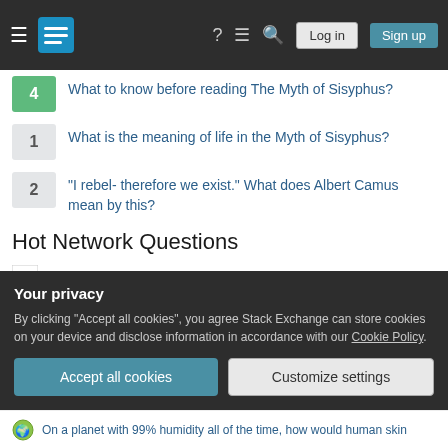Stack Exchange navigation header with Log in and Sign up buttons
4 — What to know before reading The Myth of Sisyphus?
1 — What is the meaning of life in the Myth of Sisyphus?
2 — "I rebel- therefore we exist." What does Albert Camus mean by this?
Hot Network Questions
What are "branes", and why do they form a category?
Once in a lifetime – A letter from Richard
Is it legal to accidentally hunt on private property?
LilyPond: words connected with hyphen
Your privacy
By clicking "Accept all cookies", you agree Stack Exchange can store cookies on your device and disclose information in accordance with our Cookie Policy.
On a planet with 99% humidity all of the time, how would human skin